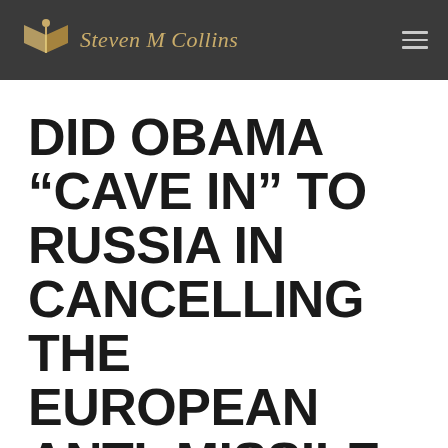Steven M Collins
DID OBAMA “CAVE IN” TO RUSSIA IN CANCELLING THE EUROPEAN ANTI–MISSILE SYSTEM?
by admin | Sep 19, 2009 | Gog Magog War